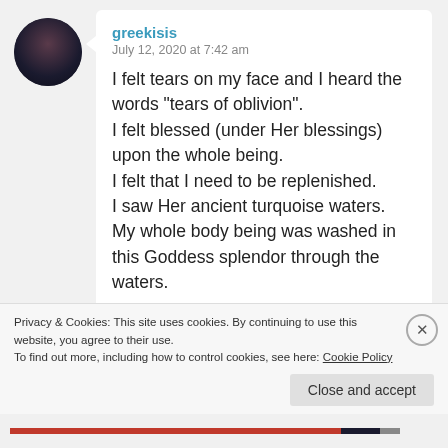[Figure (photo): Circular avatar photo of a person (dark tones, appears to be a woman) used as a profile picture for the commenter 'greekisis']
greekisis
July 12, 2020 at 7:42 am
I felt tears on my face and I heard the words “tears of oblivion”.
I felt blessed (under Her blessings) upon the whole being.
I felt that I need to be replenished.
I saw Her ancient turquoise waters.
My whole body being was washed in this Goddess splendor through the waters.
Privacy & Cookies: This site uses cookies. By continuing to use this website, you agree to their use.
To find out more, including how to control cookies, see here: Cookie Policy
Close and accept